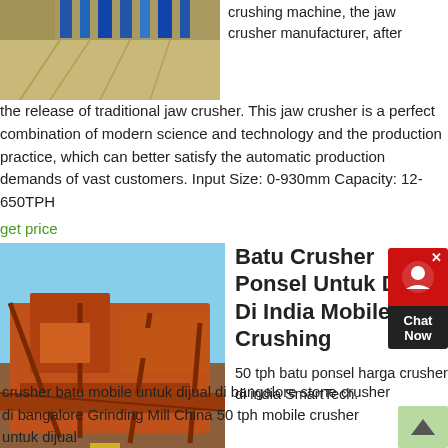[Figure (photo): Aerial/ground level view of a sandy construction or industrial site with blue structures in background]
crushing machine, the jaw crusher manufacturer, after the release of traditional jaw crusher. This jaw crusher is a perfect combination of modern science and technology and the production practice, which can better satisfy the automatic production demands of vast customers. Input Size: 0-930mm Capacity: 12-650TPH
get price
[Figure (photo): Orange mobile coal crushing machinery equipment at an industrial site in India]
Batu Crusher Ponsel Untuk Dijual Di India Mobile Coal Crushing
50 tph batu ponsel harga crusher di india SmartTech. crusher batu mobile untuk dijual di bangalore stone crusher di bangalore Grinding Mill China 50 tph mobile crusher untuk dijual